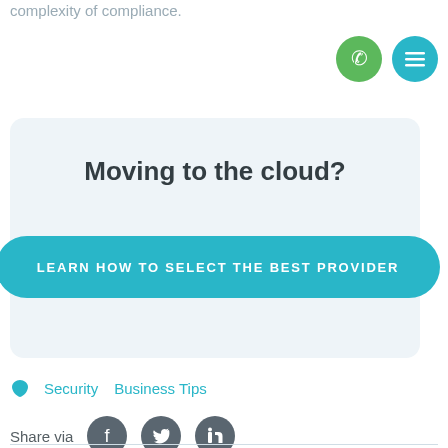complexity of compliance.
[Figure (infographic): Green phone icon button and teal menu/hamburger icon button in top right corner]
Moving to the cloud?
LEARN HOW TO SELECT THE BEST PROVIDER
Security  Business Tips
Share via
[Figure (infographic): Facebook, Twitter, and LinkedIn social share icon buttons]